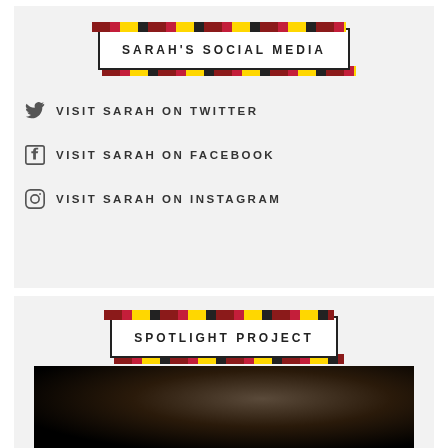SARAH'S SOCIAL MEDIA
VISIT SARAH ON TWITTER
VISIT SARAH ON FACEBOOK
VISIT SARAH ON INSTAGRAM
SPOTLIGHT PROJECT
[Figure (photo): Dark photograph partially visible at the bottom of the page]